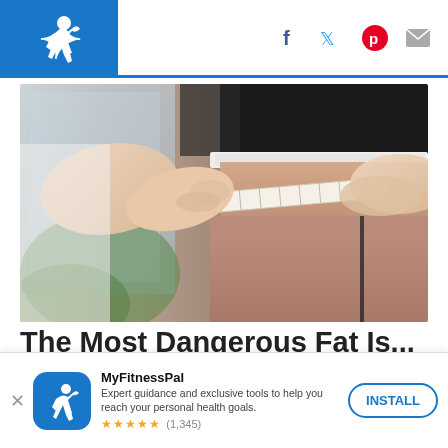MyFitnessPal header with logo and social icons (Facebook, Twitter, Pinterest, Email)
[Figure (photo): Close-up photo of a person measuring their waist with a tape measure. The subject wears a black crop top and dusty rose/mauve shorts. Another person's hands hold the tape measure around the waist. Background shows a window with greenery.]
The Most Dangerous Fat Is...
MyFitnessPal
Expert guidance and exclusive tools to help you reach your personal health goals.
★★★★★ (1,345)
INSTALL